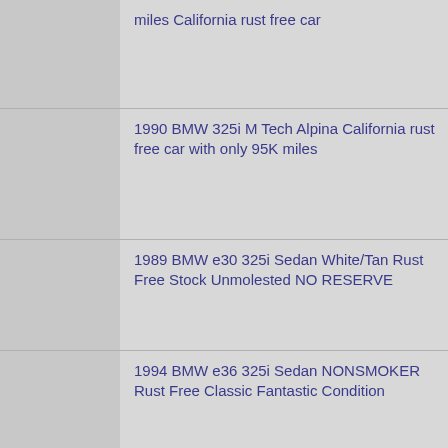miles California rust free car
1990 BMW 325i M Tech Alpina California rust free car with only 95K miles
1989 BMW e30 325i Sedan White/Tan Rust Free Stock Unmolested NO RESERVE
1994 BMW e36 325i Sedan NONSMOKER Rust Free Classic Fantastic Condition